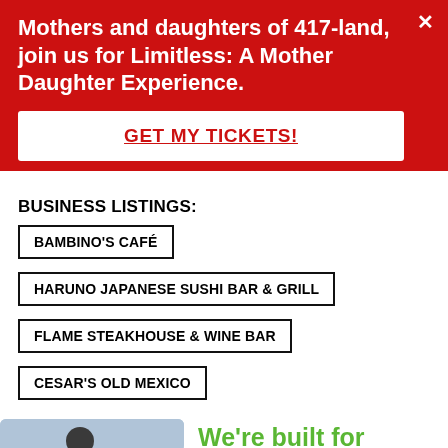Mothers and daughters of 417-land, join us for Limitless: A Mother Daughter Experience.
GET MY TICKETS!
BUSINESS LISTINGS:
BAMBINO'S CAFÉ
HARUNO JAPANESE SUSHI BAR & GRILL
FLAME STEAKHOUSE & WINE BAR
CESAR'S OLD MEXICO
[Figure (photo): Woman exercising, partial view, with green text 'We're built for the journey']